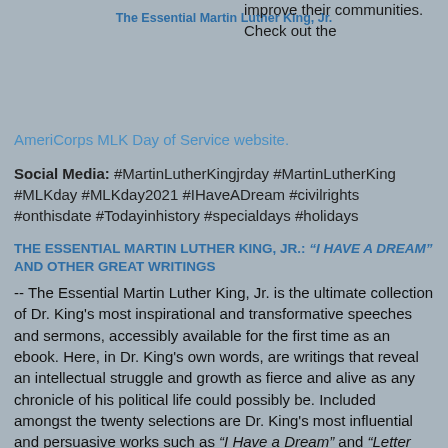The Essential Martin Luther King, Jr.
improve their communities. Check out the AmeriCorps MLK Day of Service website.
Social Media: #MartinLutherKingjrday #MartinLutherKing #MLKday #MLKday2021 #IHaveADream #civilrights #onthisdate #Todayinhistory #specialdays #holidays
THE ESSENTIAL MARTIN LUTHER KING, JR.: “I HAVE A DREAM” AND OTHER GREAT WRITINGS
-- The Essential Martin Luther King, Jr. is the ultimate collection of Dr. King’s most inspirational and transformative speeches and sermons, accessibly available for the first time as an ebook. Here, in Dr. King’s own words, are writings that reveal an intellectual struggle and growth as fierce and alive as any chronicle of his political life could possibly be. Included amongst the twenty selections are Dr. King’s most influential and persuasive works such as “I Have a Dream” and “Letter from Birmingham Jail” but also the essay “Pilgrimage to Nonviolence,” and his last sermon “I See the Promised Land,” preached the day before he was